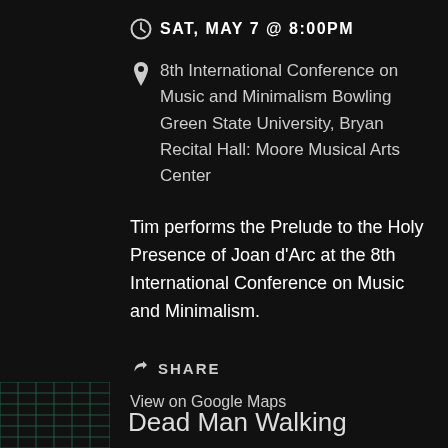SAT, MAY 7 @ 8:00PM
8th International Conference on Music and Minimalism Bowling Green State University, Bryan Recital Hall: Moore Musical Arts Center
Tim performs the Prelude to the Holy Presence of Joan d'Arc at the 8th International Conference on Music and Minimalism.
SHARE
View on Google Maps
Dead Man Walking